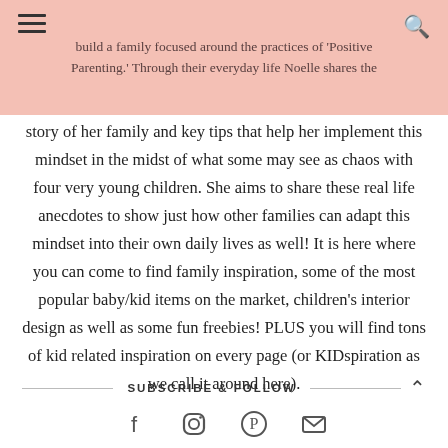build a family focused around the practices of 'Positive Parenting.' Through their everyday life Noelle shares the
story of her family and key tips that help her implement this mindset in the midst of what some may see as chaos with four very young children. She aims to share these real life anecdotes to show just how other families can adapt this mindset into their own daily lives as well! It is here where you can come to find family inspiration, some of the most popular baby/kid items on the market, children's interior design as well as some fun freebies! PLUS you will find tons of kid related inspiration on every page (or KIDspiration as we call it around here).
SUBSCRIBE & FOLLOW